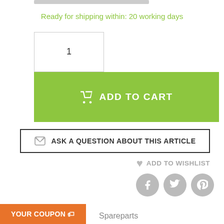Ready for shipping within: 20 working days
[Figure (other): Quantity input box showing value 1]
[Figure (other): Green Add to Cart button with shopping cart icon]
[Figure (other): Ask a question about this article button with envelope icon]
ADD TO WISHLIST
[Figure (other): Social media icons: Facebook, Twitter, Pinterest]
Description
Spareparts
The Anta Cut Table lamp black is a small, elegant table lamp. The light body is made of high quality, black metal and has a luminun. It can used almost anywhere in the
YOUR COUPON 🏷